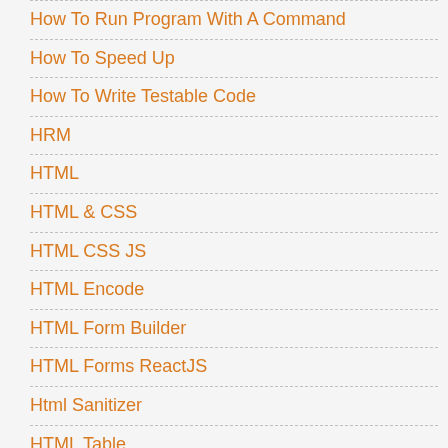How To Run Program With A Command
How To Speed Up
How To Write Testable Code
HRM
HTML
HTML & CSS
HTML CSS JS
HTML Encode
HTML Form Builder
HTML Forms ReactJS
Html Sanitizer
HTML Table
HTML5
HTML5 Quick Start
HtmlAgilityPack